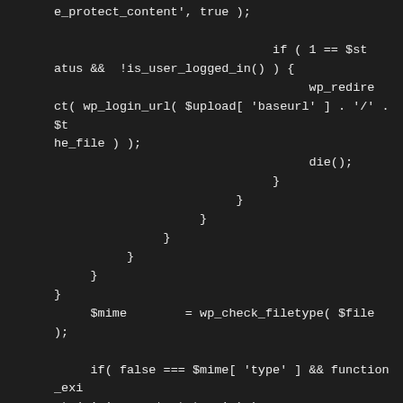[Figure (screenshot): Dark-themed code editor screenshot showing PHP code with nested closing braces, a $mime assignment, and an if-condition checking mime type.]